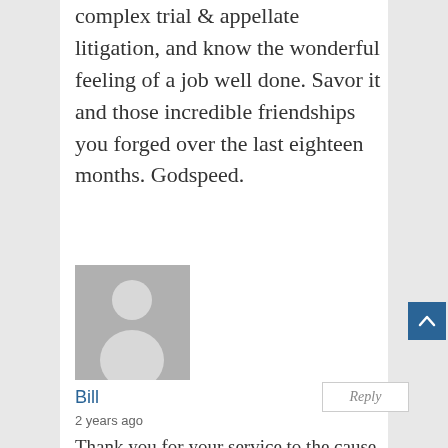complex trial & appellate litigation, and know the wonderful feeling of a job well done. Savor it and those incredible friendships you forged over the last eighteen months. Godspeed.
[Figure (illustration): Gray placeholder avatar image showing a generic person silhouette (circle head, shoulder shape) on a gray background]
Bill
Reply
2 years ago
Thank you for your service to the cause of liberty and